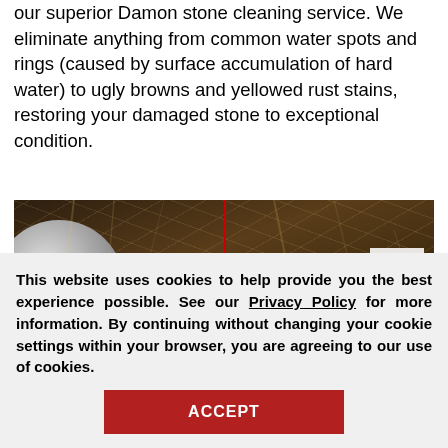our superior Damon stone cleaning service. We eliminate anything from common water spots and rings (caused by surface accumulation of hard water) to ugly browns and yellowed rust stains, restoring your damaged stone to exceptional condition.
[Figure (photo): Close-up photo of polished dark marble surface with a red vertical dividing line, a circular metallic object on the left, an 'After' label in the top right corner, and a 'Request a Free' button overlay in the bottom right.]
This website uses cookies to help provide you the best experience possible. See our Privacy Policy for more information. By continuing without changing your cookie settings within your browser, you are agreeing to our use of cookies.